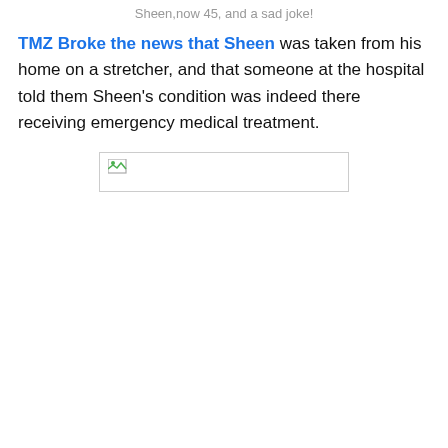Sheen,now 45, and a sad joke!
TMZ Broke the news that Sheen was taken from his home on a stretcher, and that someone at the hospital told them Sheen's condition was indeed there receiving emergency medical treatment.
[Figure (photo): Broken/missing image placeholder (image failed to load)]